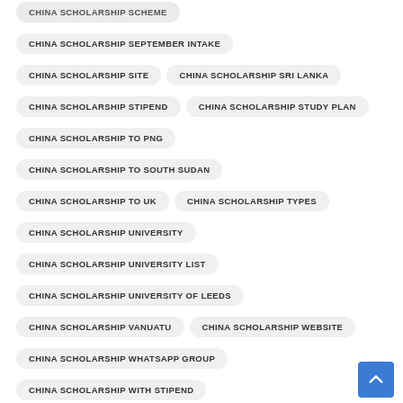CHINA SCHOLARSHIP SCHEME
CHINA SCHOLARSHIP SEPTEMBER INTAKE
CHINA SCHOLARSHIP SITE
CHINA SCHOLARSHIP SRI LANKA
CHINA SCHOLARSHIP STIPEND
CHINA SCHOLARSHIP STUDY PLAN
CHINA SCHOLARSHIP TO PNG
CHINA SCHOLARSHIP TO SOUTH SUDAN
CHINA SCHOLARSHIP TO UK
CHINA SCHOLARSHIP TYPES
CHINA SCHOLARSHIP UNIVERSITY
CHINA SCHOLARSHIP UNIVERSITY LIST
CHINA SCHOLARSHIP UNIVERSITY OF LEEDS
CHINA SCHOLARSHIP VANUATU
CHINA SCHOLARSHIP WEBSITE
CHINA SCHOLARSHIP WHATSAPP GROUP
CHINA SCHOLARSHIP WITH STIPEND
CHINA SCHOLARSHIP WITHOUT APPLICATION FEES 2022